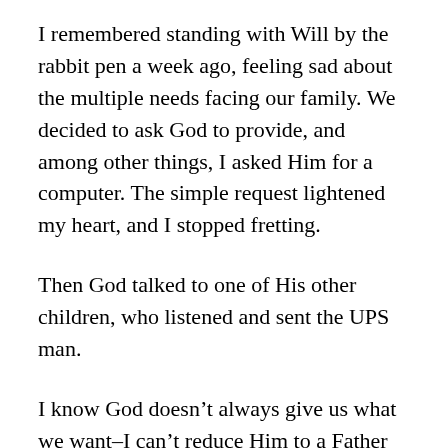I remembered standing with Will by the rabbit pen a week ago, feeling sad about the multiple needs facing our family. We decided to ask God to provide, and among other things, I asked Him for a computer. The simple request lightened my heart, and I stopped fretting.
Then God talked to one of His other children, who listened and sent the UPS man.
I know God doesn’t always give us what we want–I can’t reduce Him to a Father Christmas. But I wonder how many times I don’t have what I need because I don’t ask (James 4:2).
And by one question alone, I praised God…about to